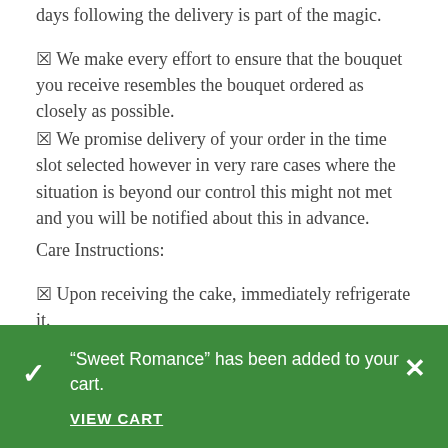days following the delivery is part of the magic.
✉ We make every effort to ensure that the bouquet you receive resembles the bouquet ordered as closely as possible.
✉ We promise delivery of your order in the time slot selected however in very rare cases where the situation is beyond our control this might not met and you will be notified about this in advance.
Care Instructions:
✉ Upon receiving the cake, immediately refrigerate it.
✉ Leave it in the fridge until it is time to cut and serve.
✉ The cake should be placed back in the fridge and should be consumed within 48 hours.
✉ Enjoy your cake!
✉ When your flowers arrive, just trim the stems and add
“Sweet Romance” has been added to your cart.
VIEW CART